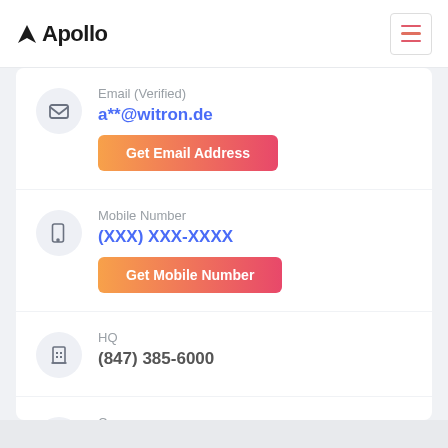Apollo
Email (Verified)
a**@witron.de
Get Email Address
Mobile Number
(XXX) XXX-XXXX
Get Mobile Number
HQ
(847) 385-6000
Company
WITRON Group